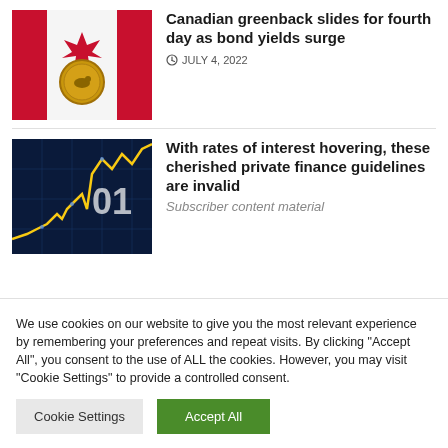[Figure (photo): Canadian flag with a loonie (Canadian dollar coin) in the foreground]
Canadian greenback slides for fourth day as bond yields surge
JULY 4, 2022
[Figure (photo): Financial stock chart with yellow/orange line and '01' text overlay on blue digital background]
With rates of interest hovering, these cherished private finance guidelines are invalid
Subscriber content material
We use cookies on our website to give you the most relevant experience by remembering your preferences and repeat visits. By clicking "Accept All", you consent to the use of ALL the cookies. However, you may visit "Cookie Settings" to provide a controlled consent.